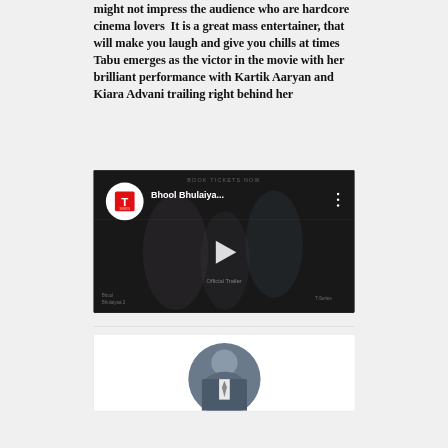might not impress the audience who are hardcore cinema lovers  It is a great mass entertainer, that will make you laugh and give you chills at times  Tabu emerges as the victor in the movie with her brilliant performance with Kartik Aaryan and Kiara Advani trailing right behind her
[Figure (screenshot): YouTube video thumbnail for 'Bhool Bhulaiya...' with T-Series logo, play button, and dark background showing movie characters]
[Figure (photo): Author avatar - circular photo of a man in a suit, partially visible at bottom of page]